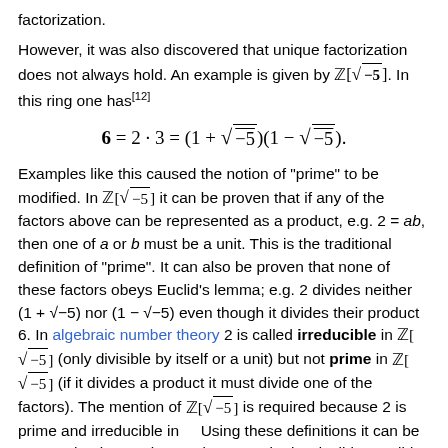factorization.
However, it was also discovered that unique factorization does not always hold. An example is given by ℤ[√−5]. In this ring one has[12]
Examples like this caused the notion of "prime" to be modified. In ℤ[√−5] it can be proven that if any of the factors above can be represented as a product, e.g. 2 = ab, then one of a or b must be a unit. This is the traditional definition of "prime". It can also be proven that none of these factors obeys Euclid's lemma; e.g. 2 divides neither (1 + √−5) nor (1 − √−5) even though it divides their product 6. In algebraic number theory 2 is called irreducible in ℤ[√−5] (only divisible by itself or a unit) but not prime in ℤ[√−5] (if it divides a product it must divide one of the factors). The mention of ℤ[√−5] is required because 2 is prime and irreducible in ℤ. Using these definitions it can be proven that in any ring a prime must be irreducible. Euclid's classical lemma can be rephrased as "in the ring of integers ℤ every irreducible is prime". This is also true in ℤ[i] and ℤ[ω] but not in ℤ[√−5]